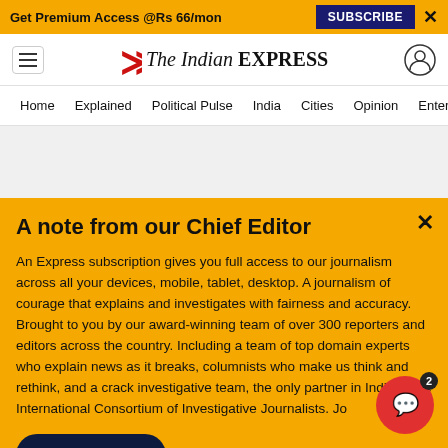Get Premium Access @Rs 66/mon   SUBSCRIBE   ×
[Figure (logo): The Indian Express logo with red double-chevron icon and serif/sans-serif logotype]
Home   Explained   Political Pulse   India   Cities   Opinion   Entertainment
[Figure (other): Gray advertisement placeholder area]
A note from our Chief Editor
An Express subscription gives you full access to our journalism across all your devices, mobile, tablet, desktop. A journalism of courage that explains and investigates with fairness and accuracy. Brought to you by our award-winning team of over 300 reporters and editors across the country. Including a team of top domain experts who explain news as it breaks, columnists who make us think and rethink, and a crack investigative team, the only partner in India of the International Consortium of Investigative Journalists. Jo
Buy Now →